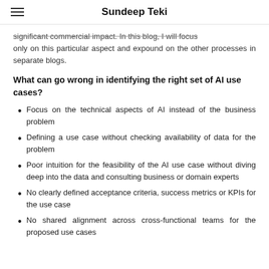Sundeep Teki
significant commercial impact. In this blog, I will focus only on this particular aspect and expound on the other processes in separate blogs.
What can go wrong in identifying the right set of AI use cases?
Focus on the technical aspects of AI instead of the business problem
Defining a use case without checking availability of data for the problem
Poor intuition for the feasibility of the AI use case without diving deep into the data and consulting business or domain experts
No clearly defined acceptance criteria, success metrics or KPIs for the use case
No shared alignment across cross-functional teams for the proposed use cases